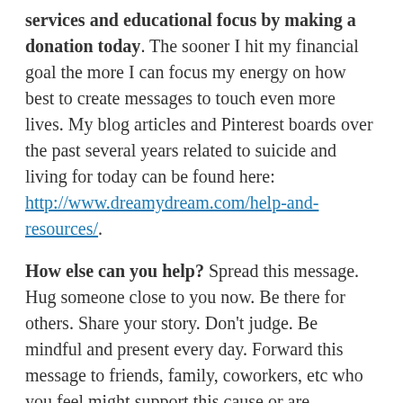services and educational focus by making a donation today. The sooner I hit my financial goal the more I can focus my energy on how best to create messages to touch even more lives. My blog articles and Pinterest boards over the past several years related to suicide and living for today can be found here: http://www.dreamydream.com/help-and-resources/.
How else can you help? Spread this message. Hug someone close to you now. Be there for others. Share your story. Don't judge. Be mindful and present every day. Forward this message to friends, family, coworkers, etc who you feel might support this cause or are interested in Samaritans. Let me know if your company is interested in being a sponsor (levels starting at $500). Share and like my Facebook posts with others. Use my website to learn my thoughts on suicide and mental health, to hear my reflections on Katherine's life, and to follow my training journey to Boston! I welcome ideas for topics to write about, or send me your questions or